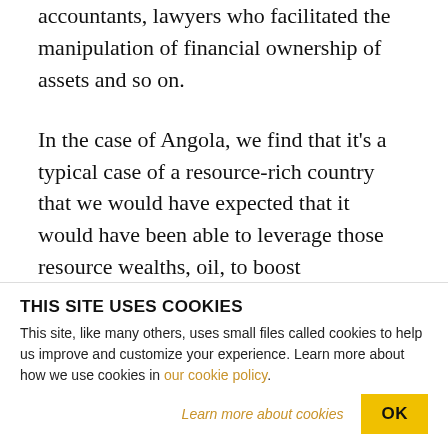accountants, lawyers who facilitated the manipulation of financial ownership of assets and so on.
In the case of Angola, we find that it's a typical case of a resource-rich country that we would have expected that it would have been able to leverage those resource wealths, oil, to boost development, to boost growth. But this is not happening, because even as the country–if you look at the aggregate majors of GDP, it has high GDP, if you look at the
THIS SITE USES COOKIES
This site, like many others, uses small files called cookies to help us improve and customize your experience. Learn more about how we use cookies in our cookie policy.
Learn more about cookies
OK